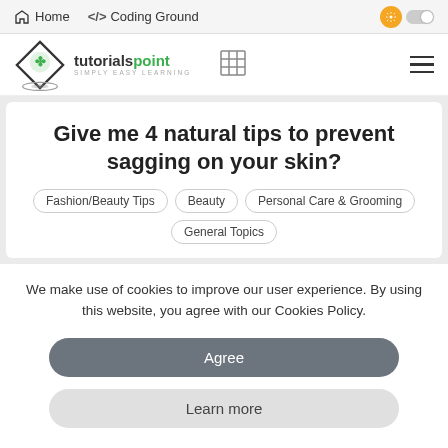Home  </> Coding Ground
[Figure (logo): Tutorialspoint logo with diamond icon and text 'tutorialspoint SIMPLY EASY LEARNING']
Give me 4 natural tips to prevent sagging on your skin?
Fashion/Beauty Tips
Beauty
Personal Care & Grooming
General Topics
We make use of cookies to improve our user experience. By using this website, you agree with our Cookies Policy.
Agree
Learn more